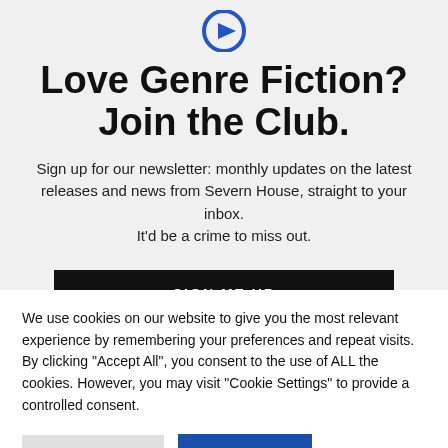[Figure (logo): Blue circular logo with play/arrow icon at top center]
Love Genre Fiction? Join the Club.
Sign up for our newsletter: monthly updates on the latest releases and news from Severn House, straight to your inbox. It’d be a crime to miss out.
[Figure (other): Black button with text SIGN ME UP]
We use cookies on our website to give you the most relevant experience by remembering your preferences and repeat visits. By clicking “Accept All”, you consent to the use of ALL the cookies. However, you may visit “Cookie Settings” to provide a controlled consent.
Cookie Settings
Accept All